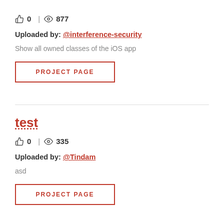👍 0 | 👁 877
Uploaded by: @interference-security
Show all owned classes of the iOS app
PROJECT PAGE
test
👍 0 | 👁 335
Uploaded by: @Tindam
asd
PROJECT PAGE